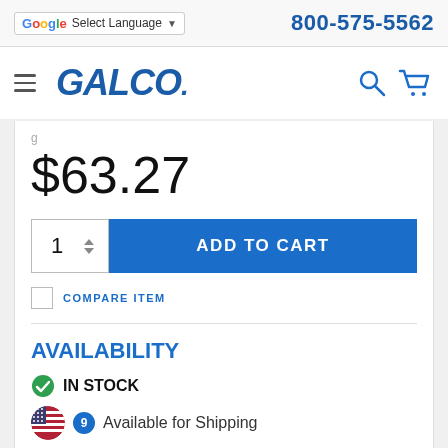Select Language | 800-575-5562
[Figure (logo): Galco industrial electronics logo in blue italic bold font]
$63.27
[Figure (screenshot): Quantity input spinner with value 1 and Add to Cart button in blue]
COMPARE ITEM
AVAILABILITY
IN STOCK
9 Available for Shipping